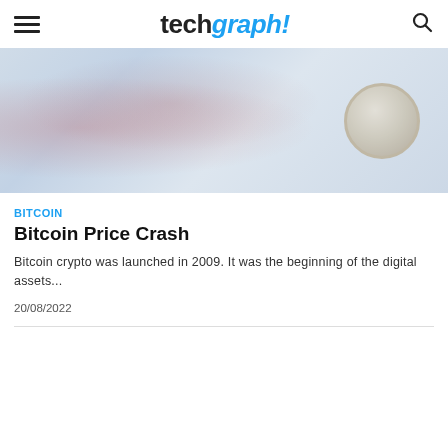techgraph!
[Figure (photo): Blurred hero image with reddish tones on the left and a coin/circle graphic on the right, suggesting a cryptocurrency or financial news image.]
BITCOIN
Bitcoin Price Crash
Bitcoin crypto was launched in 2009. It was the beginning of the digital assets...
20/08/2022